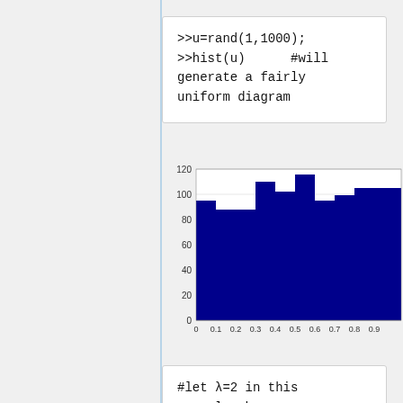>>u=rand(1,1000);
>>hist(u)      #will generate a fairly uniform diagram
[Figure (histogram): Uniform histogram of rand(1,1000)]
#let λ=2 in this example; however, you